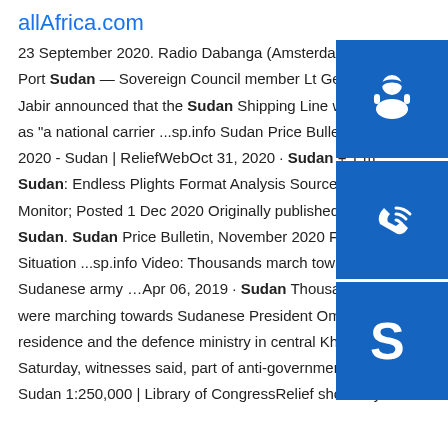allAfrica.com
23 September 2020. Radio Dabanga (Amsterdam) Khartoum / Port Sudan — Sovereign Council member Lt Gen Ibrahim Jabir announced that the Sudan Shipping Line will be as "a national carrier ...sp.info Sudan Price Bulletin, October 2020 - Sudan | ReliefWebOct 31, 2020 · Sudan + 1 more Sudan: Endless Plights Format Analysis Source. Euro Monitor; Posted 1 Dec 2020 Originally published 25 Nov Sudan. Sudan Price Bulletin, November 2020 Format Situation ...sp.info Video: Thousands march towards Sudanese army …Apr 06, 2019 · Sudan Thousands of people were marching towards Sudanese President Omar al-Bashir's residence and the defence ministry in central Khartoum on Saturday, witnesses said, part of anti-government ...sp.info Sudan 1:250,000 | Library of CongressRelief shown by
[Figure (illustration): Three blue sidebar buttons: headset/support icon, phone/call icon, Skype icon]